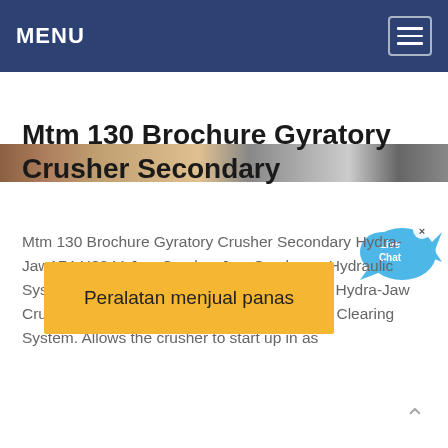MENU
[Figure (photo): Partial image strip showing industrial/crusher equipment, partially visible]
Mtm 130 Brochure Gyratory Crusher Secondary
[Figure (infographic): Live Chat bubble icon in blue with text 'Live Chat' and a close (x) button]
Mtm 130 Brochure Gyratory Crusher Secondary Hydra-Jaw174 H3244 Jaw Crusher Jaw Crushers . Hydraulic System Motor 7.5 hp 5.6 kw Brochure H3244 Hydra-Jaw Crusher. H3244 Benefits. Hydraulic Chamber Clearing System. Allows the crusher to start up in as
Peralatan menjual panas